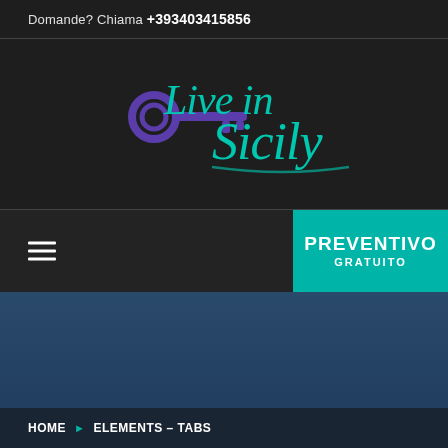Domande? Chiama +393403415856
[Figure (logo): Live in Sicily logo with cursive teal text and a purple key icon]
PREVENTIVO GRATUITO
HOME ▶ ELEMENTS – TABS